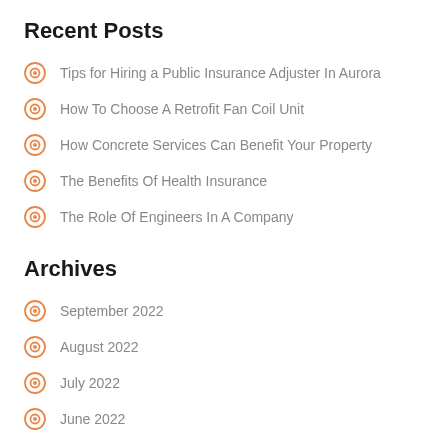Recent Posts
Tips for Hiring a Public Insurance Adjuster In Aurora
How To Choose A Retrofit Fan Coil Unit
How Concrete Services Can Benefit Your Property
The Benefits Of Health Insurance
The Role Of Engineers In A Company
Archives
September 2022
August 2022
July 2022
June 2022